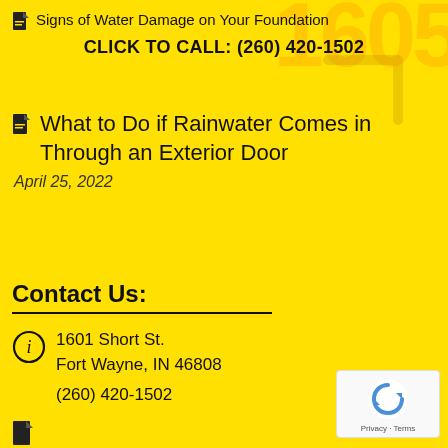Signs of Water Damage on Your Foundation
CLICK TO CALL: (260) 420-1502
What to Do if Rainwater Comes in Through an Exterior Door
April 25, 2022
Contact Us:
1601 Short St.
Fort Wayne, IN 46808
(260) 420-1502